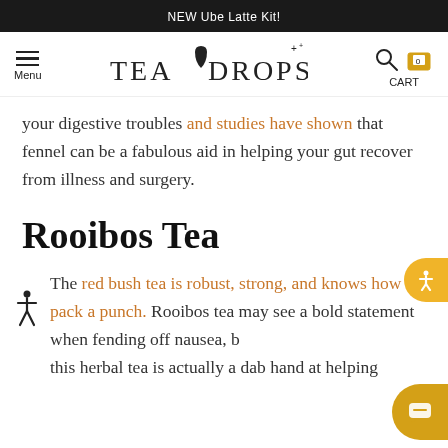NEW Ube Latte Kit!
[Figure (logo): Tea Drops logo with navigation menu icon on left and search/cart icons on right]
your digestive troubles and studies have shown that fennel can be a fabulous aid in helping your gut recover from illness and surgery.
Rooibos Tea
The red bush tea is robust, strong, and knows how to pack a punch. Rooibos tea may see a bold statement when fending off nausea, but this herbal tea is actually a dab hand at helping